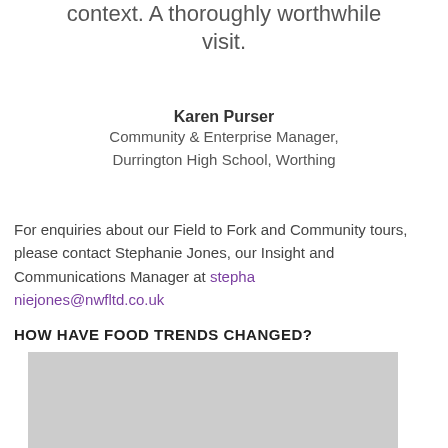context. A thoroughly worthwhile visit.
Karen Purser
Community & Enterprise Manager, Durrington High School, Worthing
For enquiries about our Field to Fork and Community tours, please contact Stephanie Jones, our Insight and Communications Manager at stephaniejones@nwfltd.co.uk
HOW HAVE FOOD TRENDS CHANGED?
[Figure (photo): Grey placeholder image block]